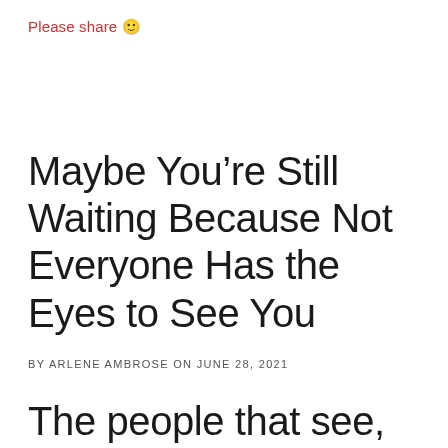Please share 🙂
Maybe You're Still Waiting Because Not Everyone Has the Eyes to See You
BY ARLENE AMBROSE ON JUNE 28, 2021
The people that see, know your worth